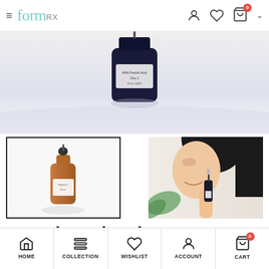formRX — navigation header with hamburger menu, user, wishlist, cart icons
[Figure (photo): Main product image: dark navy bottle of Vitamin C Serum with Ferulic Acid on a light grey/lavender background, shot from above at an angle]
[Figure (photo): Thumbnail left: amber dropper bottle of serum on white background, selected state with black border]
[Figure (photo): Thumbnail right: woman smiling while applying serum with dropper near face, holding dark bottle, green plant in background]
Complete Vitamin C Serum with Ferulic Acid
HOME | COLLECTION | WISHLIST | ACCOUNT | CART (0)